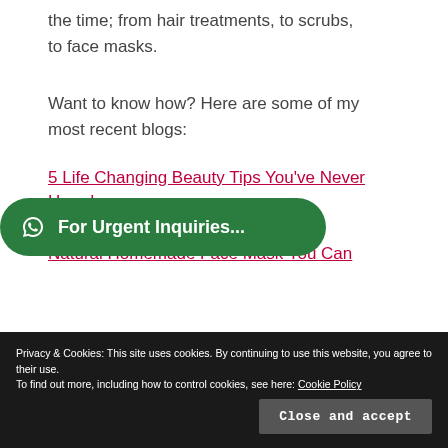the time; from hair treatments, to scrubs, to face masks.
Want to know how? Here are some of my most recent blogs:
5 Life Changing Beauty Tips You've Never [Heard]
For Urgent Inquiries...
Natural Homemade Face Mask You Can [Make]
Privacy & Cookies: This site uses cookies. By continuing to use this website, you agree to their use.
To find out more, including how to control cookies, see here: Cookie Policy
Close and accept